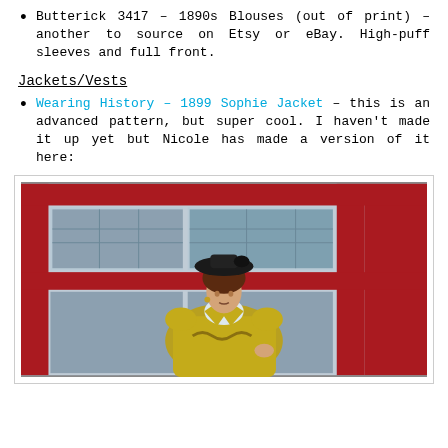Butterick 3417 – 1890s Blouses (out of print) – another to source on Etsy or eBay. High-puff sleeves and full front.
Jackets/Vests
Wearing History – 1899 Sophie Jacket – this is an advanced pattern, but super cool. I haven't made it up yet but Nicole has made a version of it here:
[Figure (photo): A woman wearing a yellow-green Victorian-style jacket with ornate embroidery and a black hat, standing in front of a red-framed window or phone box.]